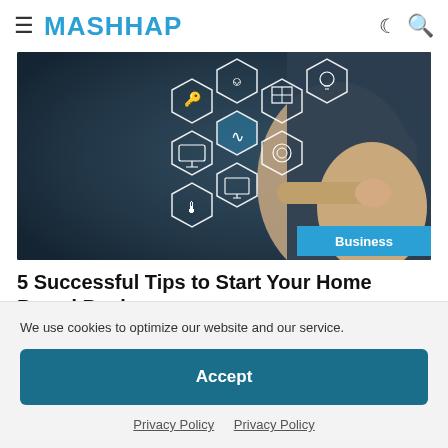MASHHAP
[Figure (photo): Person pointing at a smart home interface with hexagonal icons representing various home automation devices (key, heating, window, light, TV, WiFi, thermometer, computer, washing machine). A 'Business' badge appears in the bottom right of the image.]
5 Successful Tips to Start Your Home Based Business
We use cookies to optimize our website and our service.
Accept
Privacy Policy  Privacy Policy